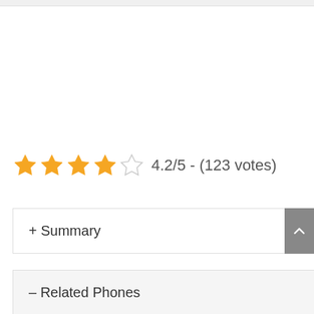4.2/5 - (123 votes)
+ Summary
– Related Phones